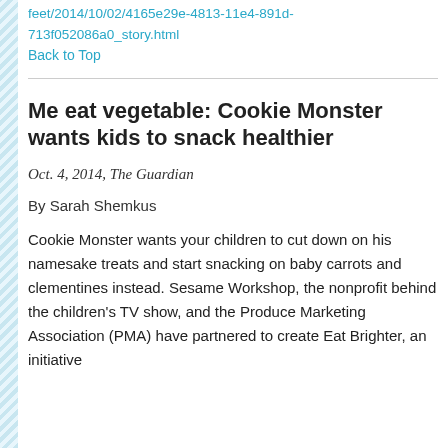feet/2014/10/02/4165e29e-4813-11e4-891d-713f052086a0_story.html
Back to Top
Me eat vegetable: Cookie Monster wants kids to snack healthier
Oct. 4, 2014, The Guardian
By Sarah Shemkus
Cookie Monster wants your children to cut down on his namesake treats and start snacking on baby carrots and clementines instead. Sesame Workshop, the nonprofit behind the children's TV show, and the Produce Marketing Association (PMA) have partnered to create Eat Brighter, an initiative